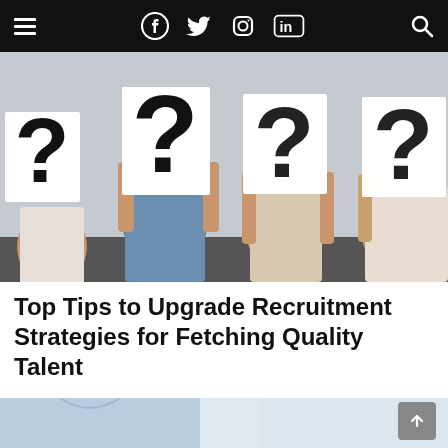Navigation bar with hamburger menu, social icons (Facebook, Twitter, Instagram, LinkedIn), and search icon
[Figure (photo): Four people seated side by side, each holding up a white paper with a large black question mark covering their faces, against a light grey wall background.]
Top Tips to Upgrade Recruitment Strategies for Fetching Quality Talent
[Figure (photo): Partial view of a person in a light blue shirt, cropped, with blurred background — beginning of an article illustration.]